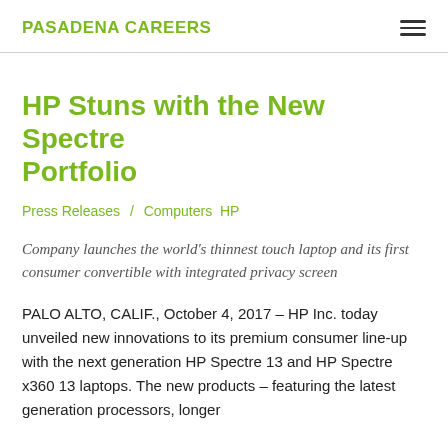PASADENA CAREERS
HP Stuns with the New Spectre Portfolio
Press Releases / Computers  HP
Company launches the world's thinnest touch laptop and its first consumer convertible with integrated privacy screen
PALO ALTO, CALIF., October 4, 2017 – HP Inc. today unveiled new innovations to its premium consumer line-up with the next generation HP Spectre 13 and HP Spectre x360 13 laptops. The new products – featuring the latest generation processors, longer